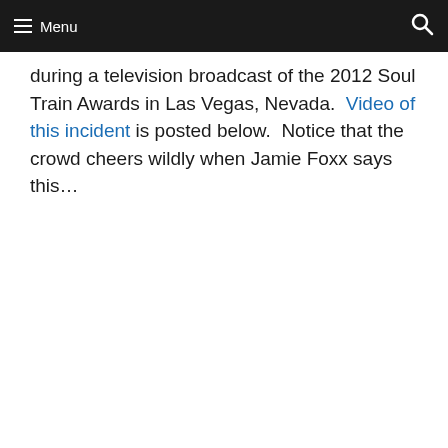Menu
during a television broadcast of the 2012 Soul Train Awards in Las Vegas, Nevada.  Video of this incident is posted below.  Notice that the crowd cheers wildly when Jamie Foxx says this…